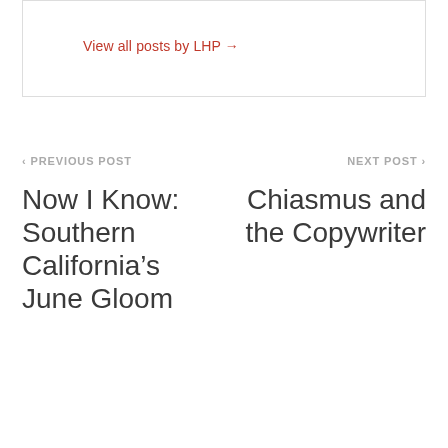View all posts by LHP →
‹ PREVIOUS POST
Now I Know: Southern California's June Gloom
NEXT POST ›
Chiasmus and the Copywriter